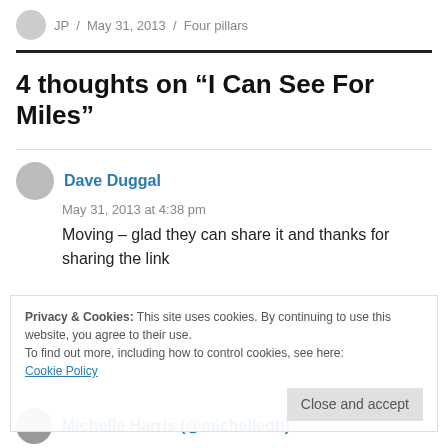JP / May 31, 2013 / Four pillars
4 thoughts on “I Can See For Miles”
Dave Duggal
May 31, 2013 at 4:38 pm
Moving – glad they can share it and thanks for sharing the link
Privacy & Cookies: This site uses cookies. By continuing to use this website, you agree to their use. To find out more, including how to control cookies, see here: Cookie Policy
Michelle Harris (@michelledh)